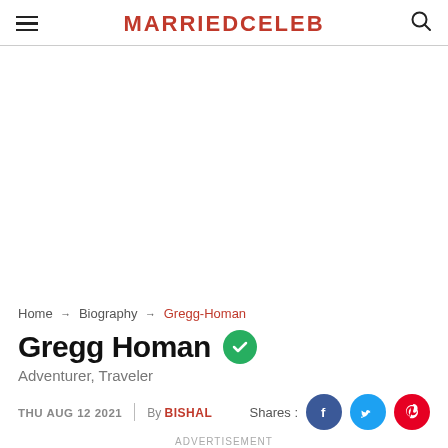MARRIEDCELEB
[Figure (other): Advertisement/blank white space area]
Home → Biography → Gregg-Homan
Gregg Homan
Adventurer, Traveler
THU AUG 12 2021  |  By BISHAL
Shares: [Facebook] [Twitter] [Pinterest]
ADVERTISEMENT